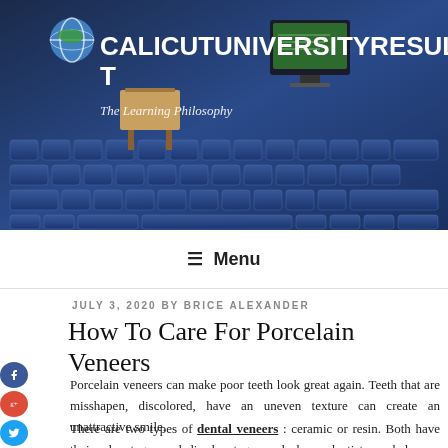[Figure (photo): Website header banner with blue keyboard/classroom background, globe icon, site title CALICUTUNIVERSITYRESULT and tagline The Learning Philosophy]
≡ Menu
JULY 3, 2020 BY BRICE ALEXANDER
How To Care For Porcelain Veneers
Porcelain veneers can make poor teeth look great again. Teeth that are misshapen, discolored, have an uneven texture can create an unattractive smile.
There are two types of dental veneers : ceramic or resin. Both have their advantages and disadvantages and also a dentist can help you determine which one is most suitable